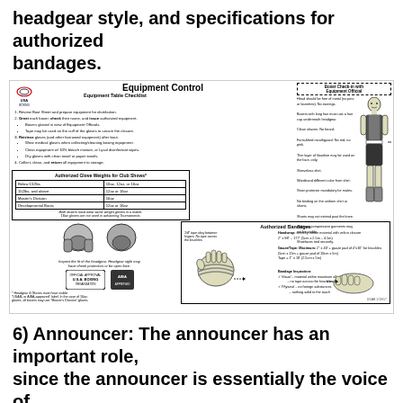headgear style, and specifications for authorized bandages.
[Figure (infographic): Equipment Control infographic for USA Boxing showing equipment table checklist, authorized glove weights for club shows, boxer check-in appearance requirements with illustrated figure, headgear styles, authorized bandages specifications, and bandage inspection criteria.]
6) Announcer: The announcer has an important role, since the announcer is essentially the voice of